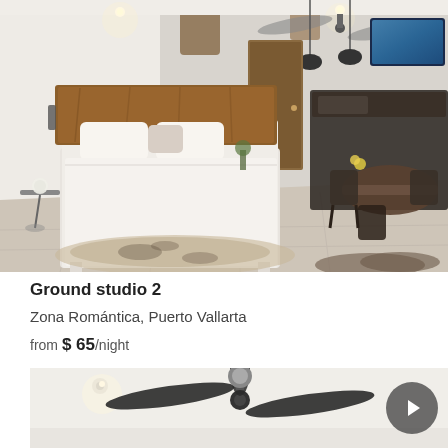[Figure (photo): Interior photo of a modern studio room with a large white bed with wooden headboard, a cowhide rug on tiled floor, globe lamp on side table, ceiling fan, dining table with chairs, kitchen area, and wall-mounted TV in the background]
Ground studio 2
Zona Romántica, Puerto Vallarta
from $ 65 /night
[Figure (photo): Partial photo showing ceiling fan with black blades against white ceiling with recessed lighting]